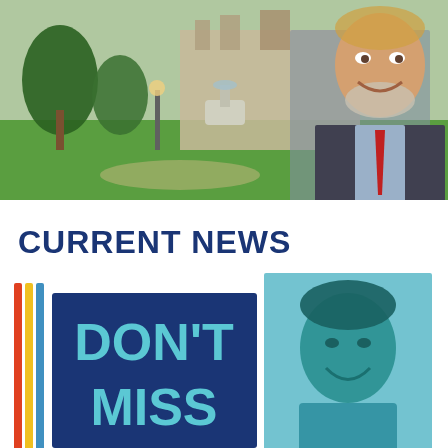[Figure (photo): A smiling middle-aged man with gray beard wearing a dark suit and red tie, standing in front of a park with a fountain and a historic building in the background.]
CURRENT NEWS
[Figure (infographic): A graphic with vertical colored bars (red, yellow, blue) on the left side, a dark navy blue box with 'DON'T MISS' text in teal/cyan, and a teal-tinted photo of a young smiling man on the right.]